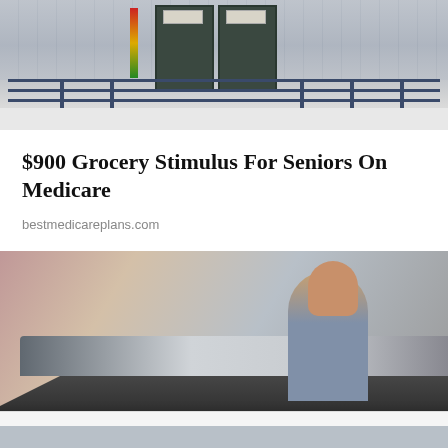[Figure (photo): Photo of a building entrance with metal railings and double doors, partially covered in snow]
$900 Grocery Stimulus For Seniors On Medicare
bestmedicareplans.com
[Figure (photo): Photo of a man looking into a car window at a car dealership]
Privacy & Cookies: This site uses cookies. By continuing to use this website, you agree to their use.
To find out more, including how to control cookies, see here: Cookie Policy
Close and accept